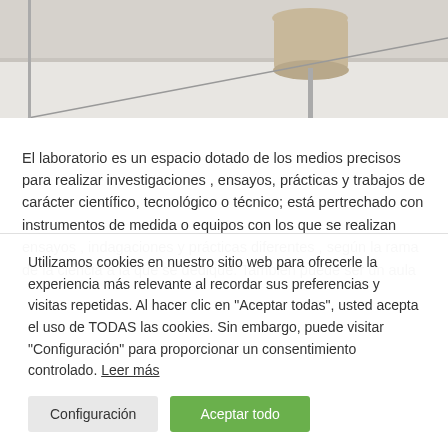[Figure (photo): Partial photo of a laboratory or interior space with minimal equipment visible on a white/grey background]
El laboratorio es un espacio dotado de los medios precisos para realizar investigaciones , ensayos, prácticas y trabajos de carácter científico, tecnológico o técnico; está pertrechado con instrumentos de medida o equipos con los que se realizan ensayos , indagaciones y prácticas diferentes , según la rama de la ciencia a la que se dedique. También puede ser un aula o dependencia de cualquier centro enseñante. Es obligatorio la utilización de equipos de protección como guantes, lentes protectores y bata; tal como del rastreo de unas
Utilizamos cookies en nuestro sitio web para ofrecerle la experiencia más relevante al recordar sus preferencias y visitas repetidas. Al hacer clic en "Aceptar todas", usted acepta el uso de TODAS las cookies. Sin embargo, puede visitar "Configuración" para proporcionar un consentimiento controlado. Leer más
Configuración
Aceptar todo